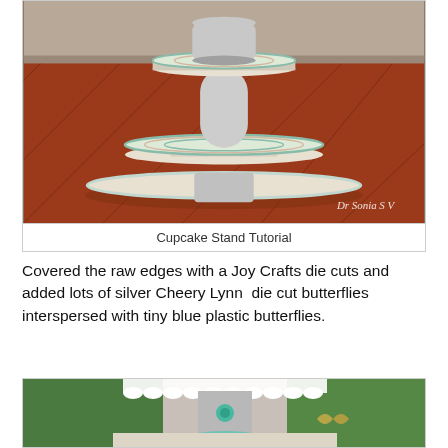[Figure (photo): A two-tiered cupcake stand with glitter/silver cylindrical supports and decorative striped paper covering the round tiers, placed on a wooden surface. Watermark reads 'Dr Sonia S V'.]
Cupcake Stand Tutorial
Covered the raw edges with a Joy Crafts die cuts and added lots of silver Cheery Lynn  die cut butterflies interspersed with tiny blue plastic butterflies.
[Figure (photo): A decorated cupcake stand with white lace trim, teal/blue flower, turquoise tulle, butterfly decorations, and patterned paper tiers, photographed outdoors with green foliage in background.]